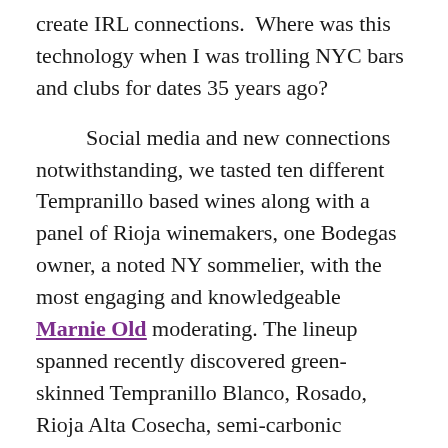create IRL connections.  Where was this technology when I was trolling NYC bars and clubs for dates 35 years ago?
Social media and new connections notwithstanding, we tasted ten different Tempranillo based wines along with a panel of Rioja winemakers, one Bodegas owner, a noted NY sommelier, with the most engaging and knowledgeable Marnie Old moderating. The lineup spanned recently discovered green-skinned Tempranillo Blanco, Rosado, Rioja Alta Cosecha, semi-carbonic macerated Rioja Baja, Alavesa, Crianza, modern and traditional Reservas, one Gran Reserva, and a monster, highly extracted  alta expresión version of Tempranillo vinified to showcase ripeness and power consistent with modern-day market trends (yuk!).